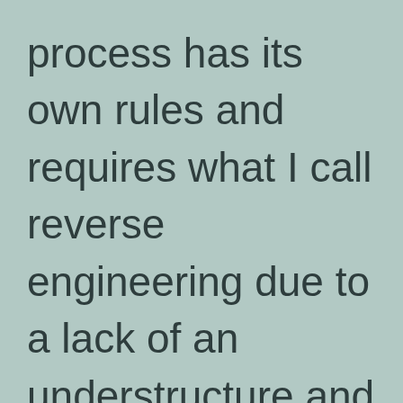process has its own rules and requires what I call reverse engineering due to a lack of an understructure and purely out of the imagination. In addition to those who